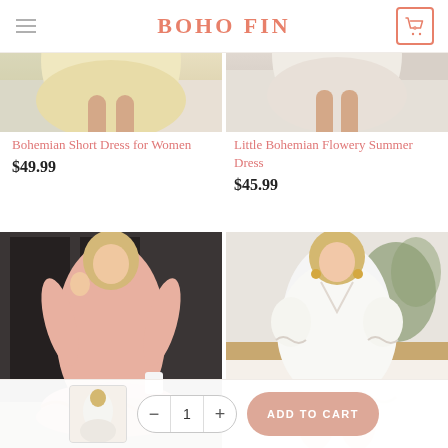BOHO FIN
[Figure (photo): Bohemian short yellow/cream dress product photo, cropped showing lower body on bed]
[Figure (photo): Little Bohemian Flowery Summer Dress product photo, cream/beige, cropped showing lower body on bed]
Bohemian Short Dress for Women
$49.99
Little Bohemian Flowery Summer Dress
$45.99
[Figure (photo): Pink lace long-sleeve bohemian dress worn by blonde model outdoors]
[Figure (photo): White lace V-neck short sleeve bohemian dress worn by blonde model sitting on bed with plants in background]
[Figure (photo): Small thumbnail of white dress product]
- 1 + ADD TO CART